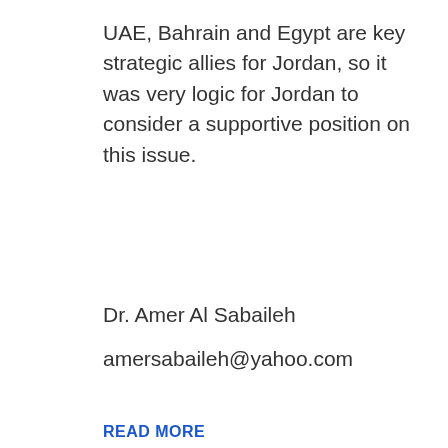UAE, Bahrain and Egypt are key strategic allies for Jordan, so it was very logic for Jordan to consider a supportive position on this issue.
Dr. Amer Al Sabaileh
amersabaileh@yahoo.com
READ MORE
Share  Twitter  Facebook
We use cookies to ensure that we give you the best experience on our website. If you continue to use this site we will assume that you are happy with it.
Ok
Search